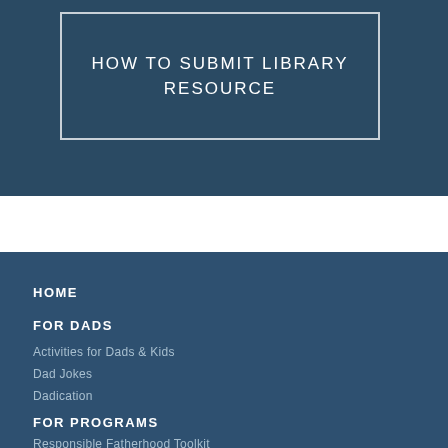HOW TO SUBMIT LIBRARY RESOURCE
HOME
FOR DADS
Activities for Dads & Kids
Dad Jokes
Dadication
FOR PROGRAMS
Responsible Fatherhood Toolkit